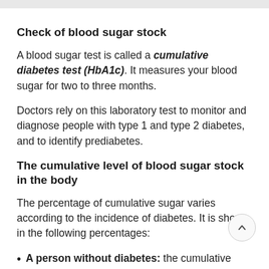Check of blood sugar stock
A blood sugar test is called a cumulative diabetes test (HbA1c). It measures your blood sugar for two to three months.
Doctors rely on this laboratory test to monitor and diagnose people with type 1 and type 2 diabetes, and to identify prediabetes.
The cumulative level of blood sugar stock in the body
The percentage of cumulative sugar varies according to the incidence of diabetes. It is shown in the following percentages:
A person without diabetes: the cumulative blood sugar is less than 5.7%